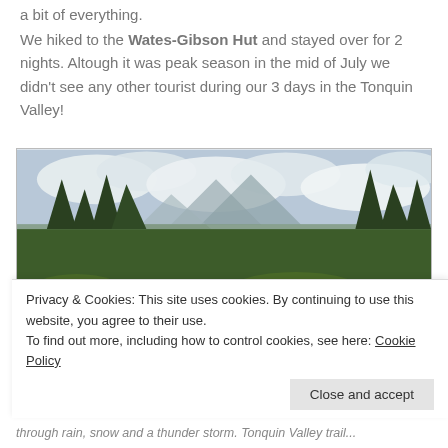a bit of everything.
We hiked to the Wates-Gibson Hut and stayed over for 2 nights. Altough it was peak season in the mid of July we didn't see any other tourist during our 3 days in the Tonquin Valley!
[Figure (photo): Hikers in Tonquin Valley with pine trees, mountain peaks and cloudy sky in background]
Privacy & Cookies: This site uses cookies. By continuing to use this website, you agree to their use. To find out more, including how to control cookies, see here: Cookie Policy
Close and accept
through rain, snow and a thunder storm. Tonquin Valley trail through Jasper National Park...